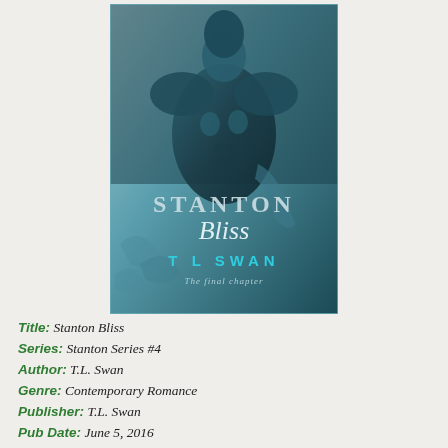[Figure (illustration): Book cover for 'Stanton Bliss' by TL Swan — the final chapter. Features a shirtless muscular man in teal/dark blue tones. The title 'STANTON' appears in large silver letters and 'Bliss' in white cursive script below. 'T L SWAN' in teal capital letters and 'The final chapter' in cursive at the bottom.]
Title: Stanton Bliss
Series: Stanton Series #4
Author: T.L. Swan
Genre: Contemporary Romance
Publisher: T.L. Swan
Pub Date: June 5, 2016
Rating: 4 Stars